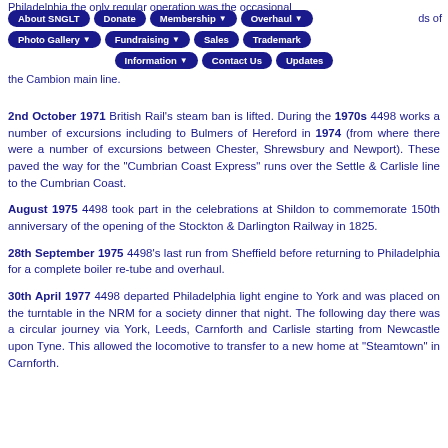Philadelphia the only regular operation was the occasional ... ce to ... ds of the Cambion main line.
Navigation: About SNGLT | Donate | Membership | Overhaul | Photo Gallery | Fundraising | Sales | Trademark | Information | Contact Us | Updates
2nd October 1971 British Rail's steam ban is lifted. During the 1970s 4498 works a number of excursions including to Bulmers of Hereford in 1974 (from where there were a number of excursions between Chester, Shrewsbury and Newport). These paved the way for the "Cumbrian Coast Express" runs over the Settle & Carlisle line to the Cumbrian Coast.
August 1975 4498 took part in the celebrations at Shildon to commemorate 150th anniversary of the opening of the Stockton & Darlington Railway in 1825.
28th September 1975 4498's last run from Sheffield before returning to Philadelphia for a complete boiler re-tube and overhaul.
30th April 1977 4498 departed Philadelphia light engine to York and was placed on the turntable in the NRM for a society dinner that night. The following day there was a circular journey via York, Leeds, Carnforth and Carlisle starting from Newcastle upon Tyne. This allowed the locomotive to transfer to a new home at "Steamtown" in Carnforth.